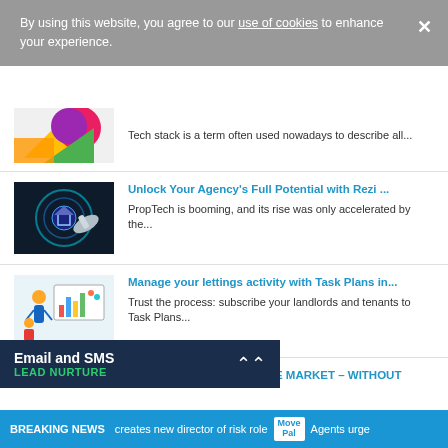By using this website, you agree to our use of cookies to enhance your experience.
[Figure (illustration): Colorful geometric shapes thumbnail]
Tech stack is a term often used nowadays to describe all...
[Figure (photo): Hand touching digital smart home technology icon]
Unlock Your Agency's Full Potential with Rezi ...
PropTech is booming, and its rise was only accelerated by the...
[Figure (illustration): Business team meeting with charts]
Manage your lettings activity with Task Plans in...
Trust the process: subscribe your landlords and tenants to Task Plans...
[Figure (photo): Man portrait with blue circles background]
MAKING THE MOST OF THE MARKET – WITHOUT THE....
state Agent burnout? As The Stamp Duty
Email and SMS LEAD NURTURE
BREAKING NEWS  creates new director of risk role  MovePal  Agents urge